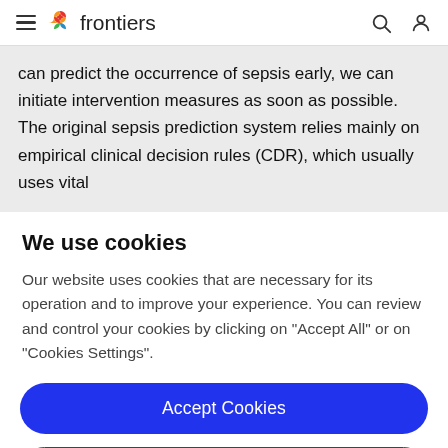frontiers
can predict the occurrence of sepsis early, we can initiate intervention measures as soon as possible. The original sepsis prediction system relies mainly on empirical clinical decision rules (CDR), which usually uses vital
We use cookies
Our website uses cookies that are necessary for its operation and to improve your experience. You can review and control your cookies by clicking on "Accept All" or on "Cookies Settings".
Accept Cookies
Cookies Settings